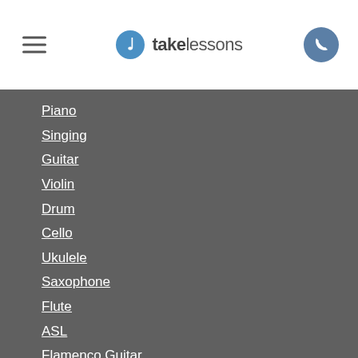takelessons
Piano
Singing
Guitar
Violin
Drum
Cello
Ukulele
Saxophone
Flute
ASL
Flamenco Guitar
Italian
Korean
German
View all music...
View all language